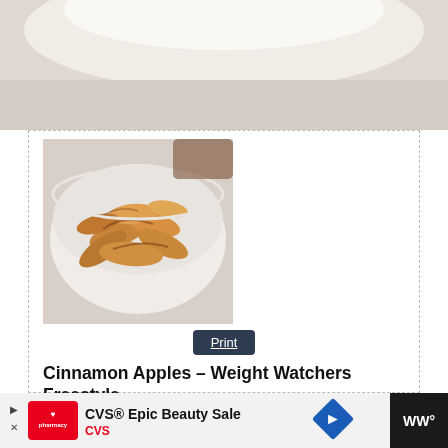[Figure (photo): Top portion of a food photo, close-up of a white bowl with food, cropped at page top]
[Figure (photo): A white bowl filled with cinnamon-coated apple slices, photographed from above/side angle]
Print
Cinnamon Apples – Weight Watchers Freestyle
Total Time
10 mins
Yield: 1 Serving (2 points for blue, green and purple)
Click here to view your WW Personal Points and track it on your app.
[Figure (screenshot): CVS Epic Beauty Sale advertisement banner at bottom of page]